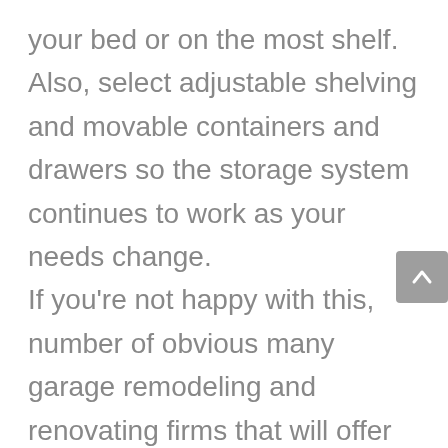your bed or on the most shelf. Also, select adjustable shelving and movable containers and drawers so the storage system continues to work as your needs change. If you're not happy with this, number of obvious many garage remodeling and renovating firms that will offer complete renovation services comprising the design and construction of a typical remodeled garage area. Basically make certain thing you have to